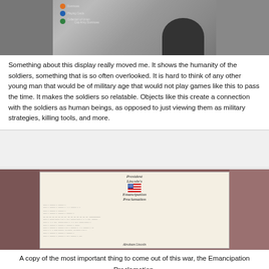[Figure (photo): A museum display showing what appears to be Civil War era items with labels, and a dark hat or helmet shape visible in the lower right. Labels on the display include text in orange, blue, and green circles.]
Something about this display really moved me. It shows the humanity of the soldiers, something that is so often overlooked. It is hard to think of any other young man that would be of military age that would not play games like this to pass the time. It makes the soldiers so relatable. Objects like this create a connection with the soldiers as human beings, as opposed to just viewing them as military strategies, killing tools, and more.
[Figure (photo): A photograph of the Emancipation Proclamation document displayed in a museum. The document has ornate script at the top reading 'President Lincoln's Emancipation Proclamation' with a small American flag. The document is framed and displayed against a reddish-brown background.]
A copy of the most important thing to come out of this war, the Emancipation Proclamation.